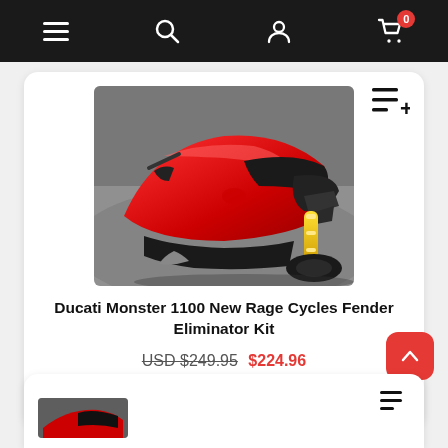Navigation bar with menu, search, account, and cart icons
[Figure (photo): Red Ducati Monster 1100 motorcycle close-up showing the tank, seat, rear suspension with yellow shock absorber, and tail section]
Ducati Monster 1100 New Rage Cycles Fender Eliminator Kit
USD $249.95 $224.96
[Figure (other): Five empty/unrated grey stars rating display]
[Figure (photo): Partial view of a second motorcycle product card at the bottom of the screen]